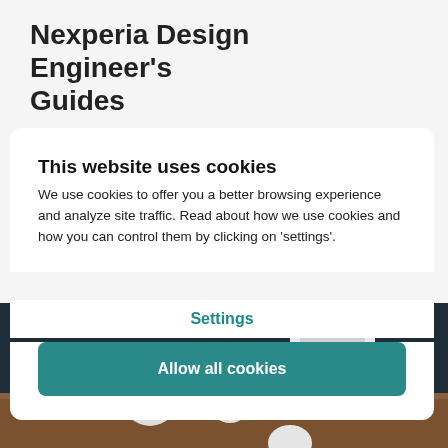Nexperia Design Engineer's Guides
This website uses cookies
We use cookies to offer you a better browsing experience and analyze site traffic. Read about how we use cookies and how you can control them by clicking on 'settings'.
Settings
Allow all cookies
[Figure (photo): Product photo: skateboard wheels and trucks on a wooden surface with a white device in the background, dark background]